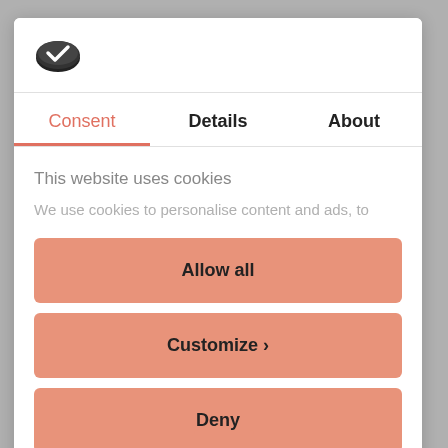[Figure (logo): Cookiebot logo icon - dark oval cookie shape with checkmark]
Consent
Details
About
This website uses cookies
We use cookies to personalise content and ads, to
Allow all
Customize >
Deny
Powered by Cookiebot by Usercentrics